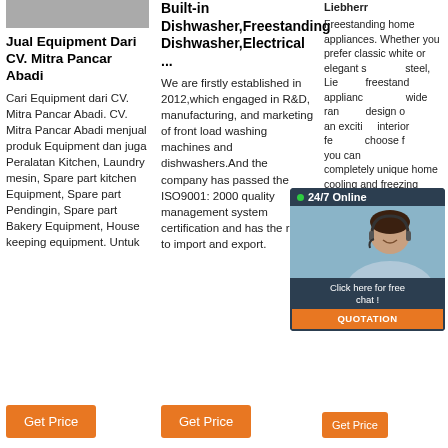[Figure (photo): Partial product image at top of first column]
Jual Equipment Dari CV. Mitra Pancar Abadi
Cari Equipment dari CV. Mitra Pancar Abadi. CV. Mitra Pancar Abadi menjual produk Equipment dan juga Peralatan Kitchen, Laundry mesin, Spare part kitchen Equipment, Spare part Pendingin, Spare part Bakery Equipment, House keeping equipment. Untuk
Get Price
Built-in Dishwasher,Freestanding Dishwasher,Electrical ...
We are firstly established in 2012,which engaged in R&D, manufacturing, and marketing of front load washing machines and dishwashers.And the company has passed the ISO9001: 2000 quality management system certification and has the right to import and export.
Get Price
Liebherr
Freestanding home appliances. Whether you prefer classic white or elegant stainless steel, Liebherr freestanding appliances come in a wide range of sizes, design options and an exciting range of interior features. So choose from our range, you can create a completely unique home cooling and freezing experience. All models help to make day-to-day food ...
Get Price
[Figure (infographic): 24/7 Online chat widget with woman in headset image, Click here for free chat! and QUOTATION button]